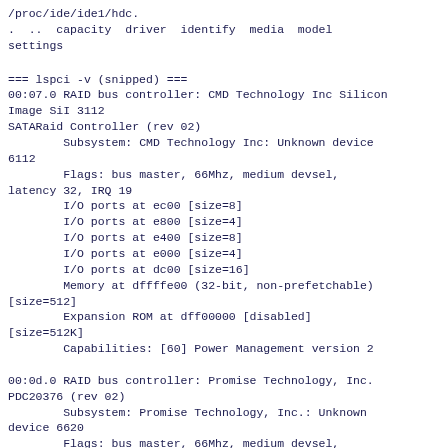/proc/ide/ide1/hdc.
.  ..  capacity  driver  identify  media  model settings
=== lspci -v (snipped) ===
00:07.0 RAID bus controller: CMD Technology Inc Silicon Image SiI 3112
SATARaid Controller (rev 02)
        Subsystem: CMD Technology Inc: Unknown device 6112
        Flags: bus master, 66Mhz, medium devsel, latency 32, IRQ 19
        I/O ports at ec00 [size=8]
        I/O ports at e800 [size=4]
        I/O ports at e400 [size=8]
        I/O ports at e000 [size=4]
        I/O ports at dc00 [size=16]
        Memory at dffffe00 (32-bit, non-prefetchable) [size=512]
        Expansion ROM at dff00000 [disabled] [size=512K]
        Capabilities: [60] Power Management version 2

00:0d.0 RAID bus controller: Promise Technology, Inc. PDC20376 (rev 02)
        Subsystem: Promise Technology, Inc.: Unknown device 6620
        Flags: bus master, 66Mhz, medium devsel, latency 32, IRQ 19
        I/O ports at be00 [size=64]